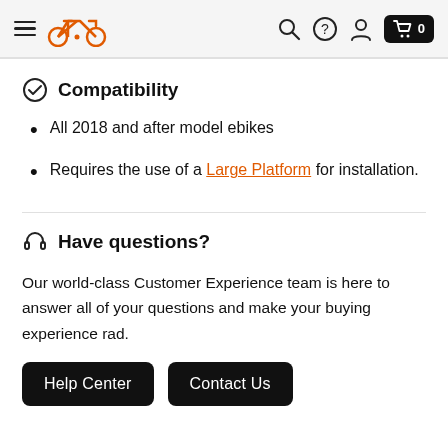Navigation bar with bicycle logo, search, help, account, and cart icons
Compatibility
All 2018 and after model ebikes
Requires the use of a Large Platform for installation.
Have questions?
Our world-class Customer Experience team is here to answer all of your questions and make your buying experience rad.
Help Center  Contact Us